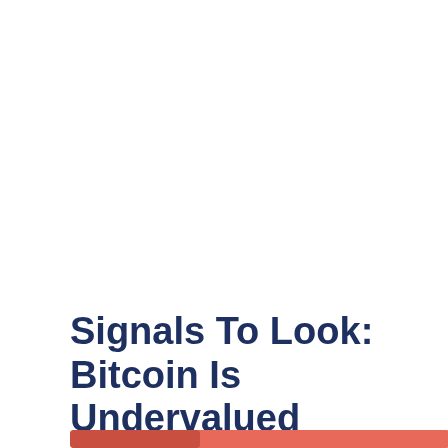Signals To Look: Bitcoin Is Undervalued
[Figure (other): Partial red/salmon colored banner or card element visible at bottom of page, with a darker red rectangle on the left portion]